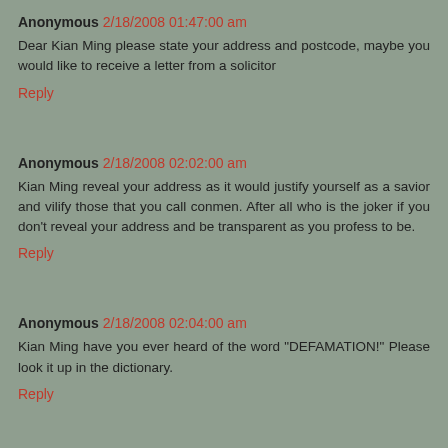Anonymous 2/18/2008 01:47:00 am
Dear Kian Ming please state your address and postcode, maybe you would like to receive a letter from a solicitor
Reply
Anonymous 2/18/2008 02:02:00 am
Kian Ming reveal your address as it would justify yourself as a savior and vilify those that you call conmen. After all who is the joker if you don't reveal your address and be transparent as you profess to be.
Reply
Anonymous 2/18/2008 02:04:00 am
Kian Ming have you ever heard of the word "DEFAMATION!" Please look it up in the dictionary.
Reply